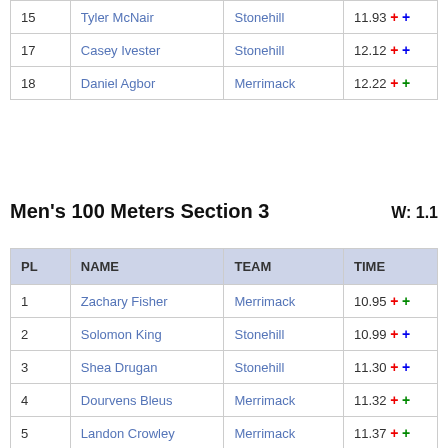| PL | NAME | TEAM | TIME |
| --- | --- | --- | --- |
| 15 | Tyler McNair | Stonehill | 11.93 + + |
| 17 | Casey Ivester | Stonehill | 12.12 + + |
| 18 | Daniel Agbor | Merrimack | 12.22 + + |
Men's 100 Meters Section 3    W: 1.1
| PL | NAME | TEAM | TIME |
| --- | --- | --- | --- |
| 1 | Zachary Fisher | Merrimack | 10.95 + + |
| 2 | Solomon King | Stonehill | 10.99 + + |
| 3 | Shea Drugan | Stonehill | 11.30 + + |
| 4 | Dourvens Bleus | Merrimack | 11.32 + + |
| 5 | Landon Crowley | Merrimack | 11.37 + + |
| 6 | Zachary Ofurum | Stonehill | 11.40 + + |
|  | Stephen Gallagher | Merrimack | DNS |
|  | Brian Smith | Merrimack | DNS |